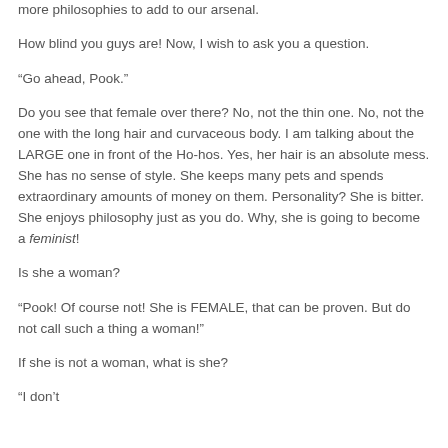more philosophies to add to our arsenal.
How blind you guys are! Now, I wish to ask you a question.
“Go ahead, Pook.”
Do you see that female over there? No, not the thin one. No, not the one with the long hair and curvaceous body. I am talking about the LARGE one in front of the Ho-hos. Yes, her hair is an absolute mess. She has no sense of style. She keeps many pets and spends extraordinary amounts of money on them. Personality? She is bitter. She enjoys philosophy just as you do. Why, she is going to become a feminist!
Is she a woman?
“Pook! Of course not! She is FEMALE, that can be proven. But do not call such a thing a woman!”
If she is not a woman, what is she?
“I don’t”